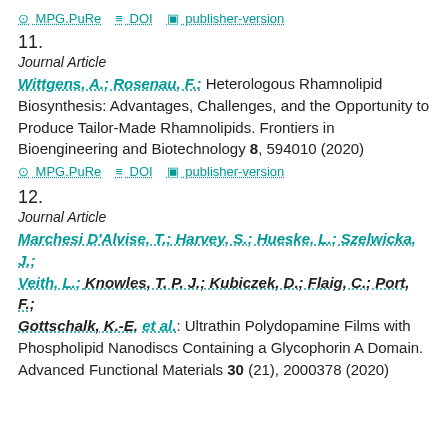MPG.PuRe  DOI  publisher-version
11.
Journal Article
Wittgens, A.; Rosenau, F.: Heterologous Rhamnolipid Biosynthesis: Advantages, Challenges, and the Opportunity to Produce Tailor-Made Rhamnolipids. Frontiers in Bioengineering and Biotechnology 8, 594010 (2020)
MPG.PuRe  DOI  publisher-version
12.
Journal Article
Marchesi D'Alvise, T.; Harvey, S.; Hueske, L.; Szelwicka, J.; Veith, L.; Knowles, T. P. J.; Kubiczek, D.; Flaig, C.; Port, F.; Gottschalk, K.-E. et al.: Ultrathin Polydopamine Films with Phospholipid Nanodiscs Containing a Glycophorin A Domain. Advanced Functional Materials 30 (21), 2000378 (2020)